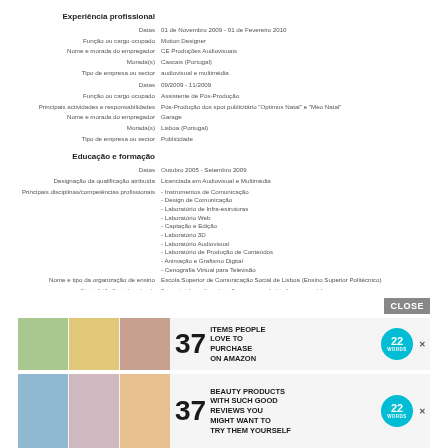Experiência profissional
Datas: 01 de Novembro 2009 - 01 de Fevereiro 2010
Função ou cargo ocupado: Motion Designer
Nome e morada do empregador: CE Produções Audiovisuais
Morada(s): Cascais (Portugal)
Tipo de empresa ou sector: audiovisual e multimédia
Datas: 09/2009 - 11/2009
Função ou cargo ocupado: Assistente de Pós-Produção
Principais actividades e responsabilidades: Pós-Produção dos spot publicitário "Optimus Natal" e "Meo Natal"
Nome e morada do empregador: Garage
Morada(s): Lisboa (Portugal)
Tipo de empresa ou sector: Publicidade
Educação e formação
Datas: Outubro 2005 - Setembro 2009
Designação da qualificação atribuída: Licenciada em Audiovisual e Multimédia
- Instrumentos de Comunicação
- Design de Comunicação
- Laboratório de Infra-estruturas
- Laboratório Web
- Captação e Edição
- Laboratório 3D
- Laboratório Audiovisual
- Laboratório de Produção de Conteúdos
- Animação e Grafismo Digital
- Cenografia Virtual para Televisão
Nome e tipo da organização de ensino: Escola Superior de Comunicação Social de Lisboa (Ensino Superior Politécnico)
Página 1 / 3 - Curriculum vitae de Renata Albuixe Araújo de Campos Barbas | Para mais informações sobre o Europass, consulte http://europass.cedefop.europa.eu © Comunidades Europeias, 2003 20050630
[Figure (screenshot): Advertisement banner: '37 ITEMS PEOPLE LOVE TO PURCHASE ON AMAZON' with 22Words badge and close button]
[Figure (screenshot): Advertisement banner: '37 BEAUTY PRODUCTS WITH SUCH GOOD REVIEWS YOU MIGHT WANT TO TRY THEM YOURSELF' with 22Words badge]